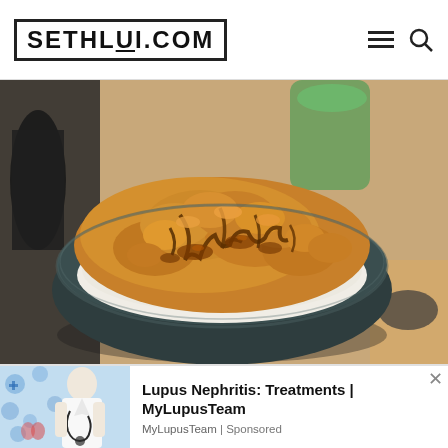SETHLUI.COM
[Figure (photo): Close-up photo of a Japanese tempura rice bowl (tendon) with crispy fried tempura pieces glazed in dark teriyaki/tare sauce, served over white rice in a dark ceramic bowl. Green matcha drink and dark beverage visible in background.]
[Figure (photo): Advertisement image showing a doctor/medical professional with stethoscope against a blue medical icons background.]
Lupus Nephritis: Treatments | MyLupusTeam
MyLupusTeam | Sponsored